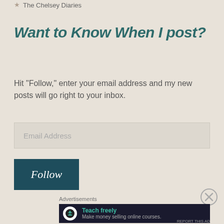The Chelsey Diaries
Want to Know When I post?
Hit "Follow," enter your email address and my new posts will go right to your inbox.
Email Address
Follow
Advertisements
[Figure (infographic): Advertisement banner for an online course platform with logo icon, headline 'Teach freely' and subtext 'Make money selling online courses.']
REPORT THIS AD